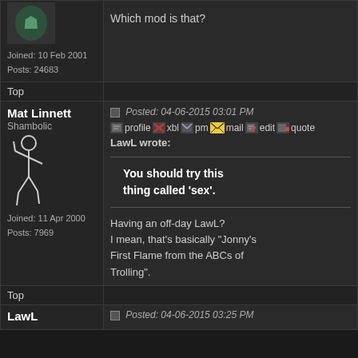Joined: 10 Feb 2001
Posts: 24683
Which mod is that?
Top
Mat Linnett
Shambolic
Joined: 11 Apr 2000
Posts: 7969
Posted: 04-06-2015 03:01 PM
profile xbl pm mail edit quote
LawL wrote:
You should try this thing called 'sex'.
Having an off-day LawL? I mean, that's basically "Jonny's First Flame from the ABCs of Trolling".
Top
LawL
Posted: 04-06-2015 03:25 PM